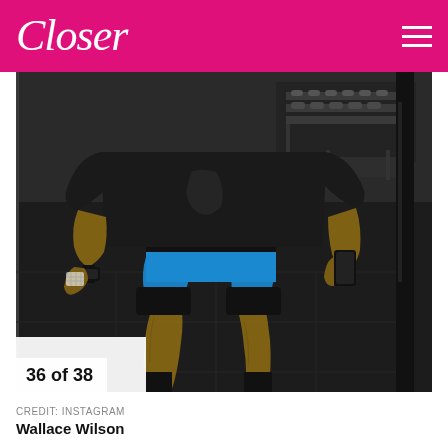Closer
[Figure (photo): A person taking a gym mirror selfie wearing a black graphic t-shirt, bright blue athletic shorts, black compression shorts/bands, and black socks. They are holding a phone to take the photo. The background shows a gym with dumbbell racks visible in the mirror reflection. A black squat rack post is visible on the right side.]
36 of 38
CREDIT: INSTAGRAM
Wallace Wilson